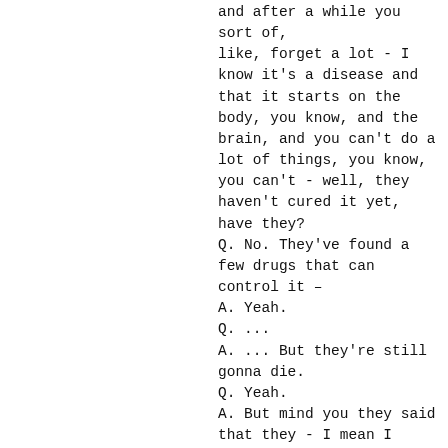and after a while you sort of,
like, forget a lot - I know it's a disease and that it starts on the body, you know, and the brain, and you can't do a lot of things, you know, you can't - well, they haven't cured it yet, have they?
Q. No. They've found a few drugs that can control it –
A. Yeah.
Q. ...
A. ... But they're still gonna die.
Q. Yeah.
A. But mind you they said that they - I mean I remember there was one guy who had AIDS who I watched on TV and he (?) had an injury, and he recovered